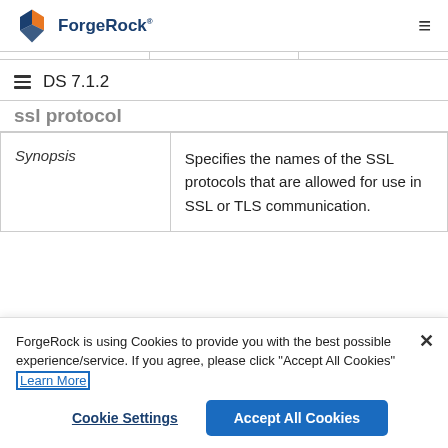ForgeRock DS 7.1.2
ssl protocol
| Synopsis | Specifies the names of the SSL protocols that are allowed for use in SSL or TLS communication. |
ForgeRock is using Cookies to provide you with the best possible experience/service. If you agree, please click "Accept All Cookies" Learn More
Cookie Settings   Accept All Cookies